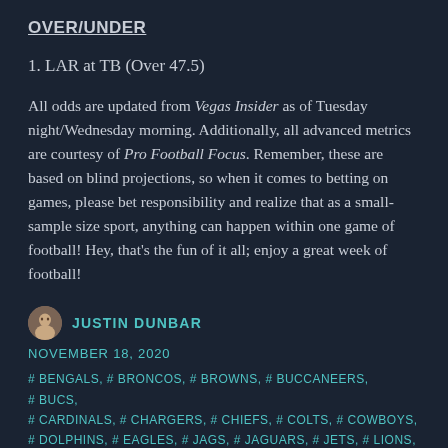OVER/UNDER
1. LAR at TB (Over 47.5)
All odds are updated from Vegas Insider as of Tuesday night/Wednesday morning. Additionally, all advanced metrics are courtesy of Pro Football Focus. Remember, these are based on blind projections, so when it comes to betting on games, please bet responsibility and realize that as a small-sample size sport, anything can happen within one game of football! Hey, that's the fun of it all; enjoy a great week of football!
JUSTIN DUNBAR
NOVEMBER 18, 2020
#BENGALS, #BRONCOS, #BROWNS, #BUCCANEERS, #BUCS, #CARDINALS, #CHARGERS, #CHIEFS, #COLTS, #COWBOYS, #DOLPHINS, #EAGLES, #JAGS, #JAGUARS, #JETS, #LIONS, #NFL